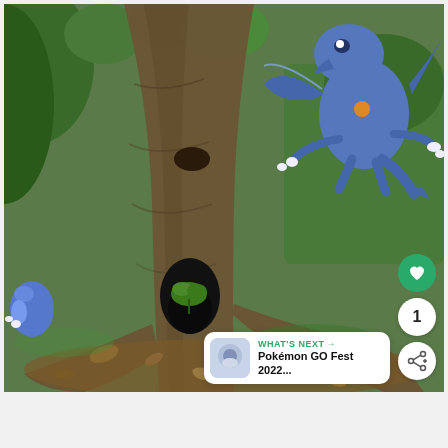[Figure (photo): Augmented reality photo showing a large tree trunk in a park with a hole at its base containing a small plant. A blue dragon-like Pokémon (Aerodactyl) is overlaid in the upper right. Green grass and hedges surround the tree. A smaller blue Pokémon is partially visible at the lower left. On the right side of the image are UI overlay buttons: a green heart button, a white circle with '1', and a white share button. At the bottom right is a 'WHAT'S NEXT' banner showing 'Pokémon GO Fest 2022...']